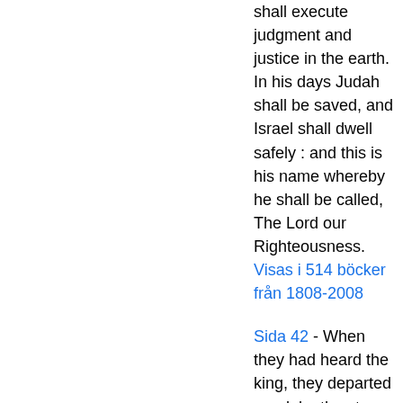shall execute judgment and justice in the earth. In his days Judah shall be saved, and Israel shall dwell safely : and this is his name whereby he shall be called, The Lord our Righteousness.
Visas i 514 böcker från 1808-2008
Sida 42 - When they had heard the king, they departed ; and, lo, the star, which they saw in the east, went before them, till it came and stood over where the young child was. When they saw the star, they rejoiced with exceeding great joy. And when they were come into the